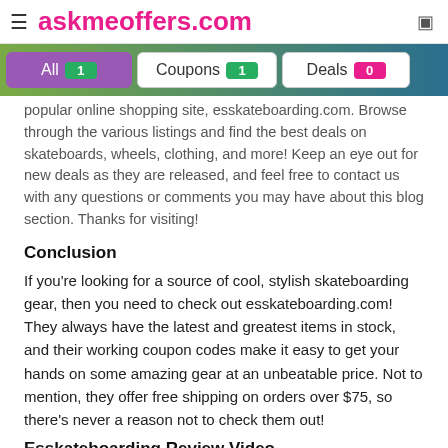≡ askmeoffers.com
All 1  Coupons 1  Deals 0
popular online shopping site, esskateboarding.com. Browse through the various listings and find the best deals on skateboards, wheels, clothing, and more! Keep an eye out for new deals as they are released, and feel free to contact us with any questions or comments you may have about this blog section. Thanks for visiting!
Conclusion
If you're looking for a source of cool, stylish skateboarding gear, then you need to check out esskateboarding.com! They always have the latest and greatest items in stock, and their working coupon codes make it easy to get your hands on some amazing gear at an unbeatable price. Not to mention, they offer free shipping on orders over $75, so there's never a reason not to check them out!
Esskateboarding Review Video